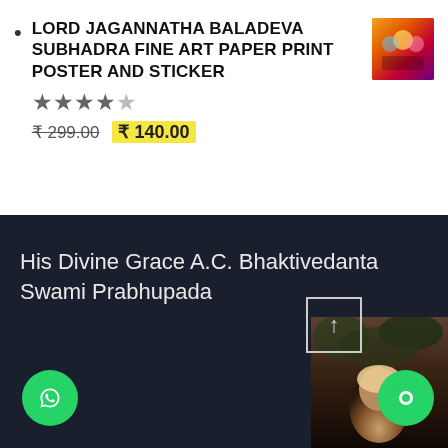LORD JAGANNATHA BALADEVA SUBHADRA FINE ART PAPER PRINT POSTER AND STICKER ★★★★☆ ₹299.00 ₹140.00
His Divine Grace A.C. Bhaktivedanta Swami Prabhupada
[Figure (photo): Thumbnail image of Lord Jagannatha Baladeva Subhadra colorful art print]
[Figure (photo): Portrait photo of His Divine Grace A.C. Bhaktivedanta Swami Prabhupada, elderly man looking upward, dark background with foliage]